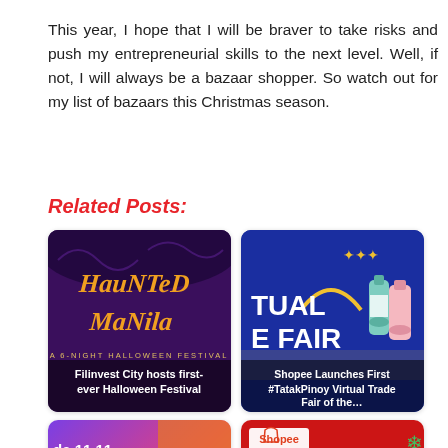This year, I hope that I will be braver to take risks and push my entrepreneurial skills to the next level. Well, if not, I will always be a bazaar shopper. So watch out for my list of bazaars this Christmas season.
Related Posts:
[Figure (photo): Haunted Manila – A 6-Night Halloween Festival promotional image with yellow text on purple background]
Filinvest City hosts first-ever Halloween Festival
[Figure (photo): Shopee #TatakPinoy Virtual Trade Fair promotional image with product bottles on blue background]
Shopee Launches First #TatakPinoy Virtual Trade Fair of the…
[Figure (photo): Lazada 11.11 Biggest Sale promotional image with colorful background and woman]
Lazada Philippines holds
[Figure (photo): Shopee 11.11 Big Christmas Sale promotional image with red background and man]
Shopee 11.11 Big